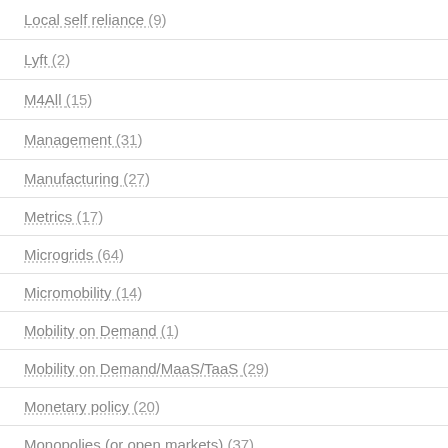Local self reliance (9)
Lyft (2)
M4All (15)
Management (31)
Manufacturing (27)
Metrics (17)
Microgrids (64)
Micromobility (14)
Mobility on Demand (1)
Mobility on Demand/MaaS/TaaS (29)
Monetary policy (20)
Monopolies (or open markets) (37)